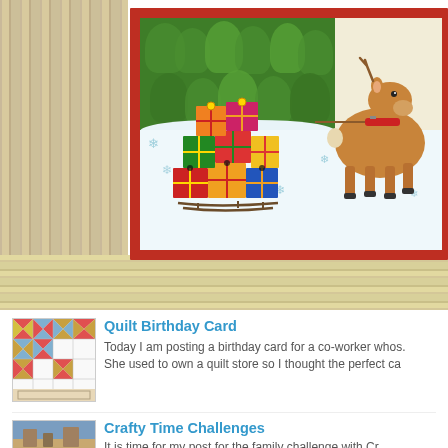[Figure (photo): Close-up photo of a Christmas card featuring a reindeer pulling a sled loaded with colorful wrapped presents, set against a winter scene with green trees and snowflakes. The card has a red border and is placed on a wooden surface.]
[Figure (photo): Thumbnail of a quilt pattern birthday card with pinwheel and star blocks in red, yellow, green, and blue on white background.]
Quilt Birthday Card
Today I am posting a birthday card for a co-worker whos. She used to own a quilt store so I thought the perfect ca
[Figure (photo): Thumbnail image for Crafty Time Challenges blog post.]
Crafty Time Challenges
It is time for my post for the family challenge with Cr...